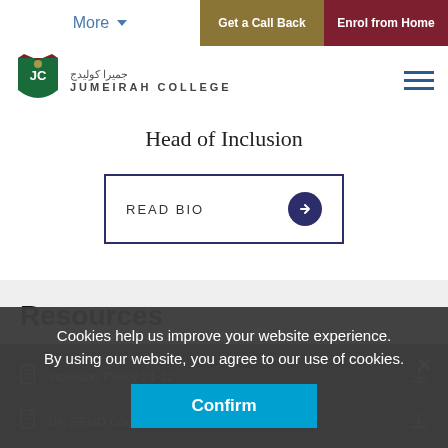More | Get a Call Back | Enrol from Home
[Figure (logo): Jumeirah College crest and name logo]
Head of Inclusion
READ BIO
Resources
Inclusion Policy 21-22
UK SEND Code of Practice
Protection of...
Cookies help us improve your website experience. By using our website, you agree to our use of cookies.
Confirm